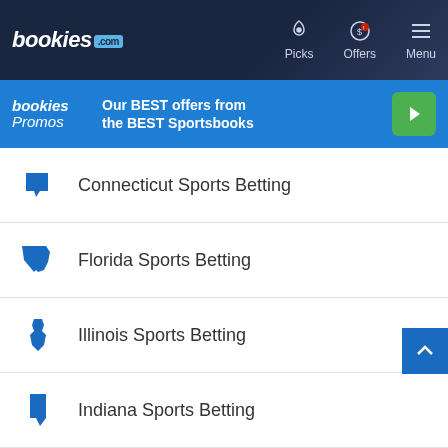bookies.com — Picks | Offers | Menu
[Figure (other): Bookies Promos banner: Our BEST offers from the BEST Sportsbooks with play button]
Connecticut Sports Betting
Florida Sports Betting
Illinois Sports Betting
Indiana Sports Betting
Iowa Sports Betting
Kansas Sports Betting